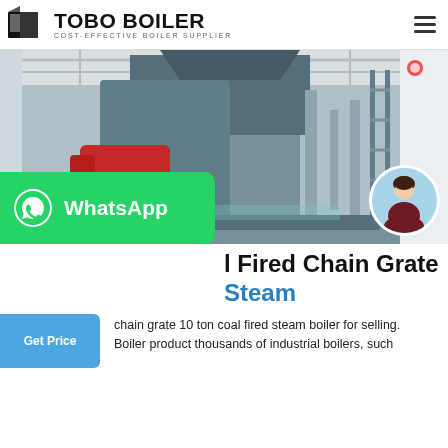TOBO BOILER COST-EFFECTIVE BOILER SUPPLIER
[Figure (photo): Industrial coal fired chain grate steam boiler in a factory setting, large metallic cylindrical boiler with red burner attachment, industrial facility interior with steel ceiling structure. Small circular avatar of a young woman in lower right corner.]
Coal Fired Chain Grate Steam
chain grate 10 ton coal fired steam boiler for selling. Boiler product thousands of industrial boilers, such